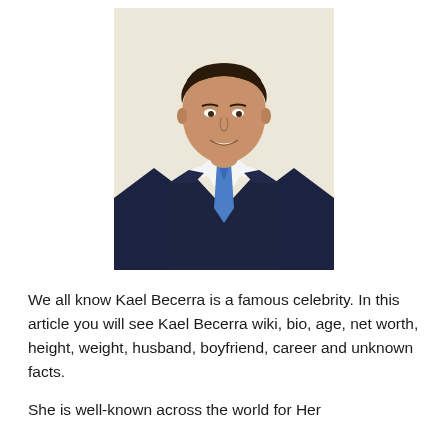[Figure (photo): Portrait photo of a man in a dark navy suit with a blue tie and white dress shirt, smiling, against a light beige/cream background.]
We all know Kael Becerra is a famous celebrity. In this article you will see Kael Becerra wiki, bio, age, net worth, height, weight, husband, boyfriend, career and unknown facts.
She is well-known across the world for Her